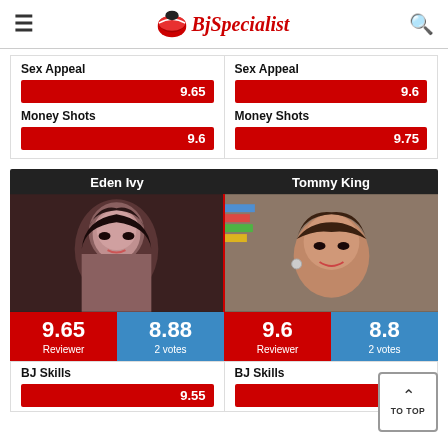BjSpecialist
|  | Left | Right |
| --- | --- | --- |
| Sex Appeal | 9.65 | 9.6 |
| Money Shots | 9.6 | 9.75 |
[Figure (infographic): Comparison card showing Eden Ivy vs Tommy King with photos, reviewer scores (9.65 / 8.88 votes) and (9.6 / 8.8 votes)]
|  | Left | Right |
| --- | --- | --- |
| BJ Skills | 9.55 | 9.6 |